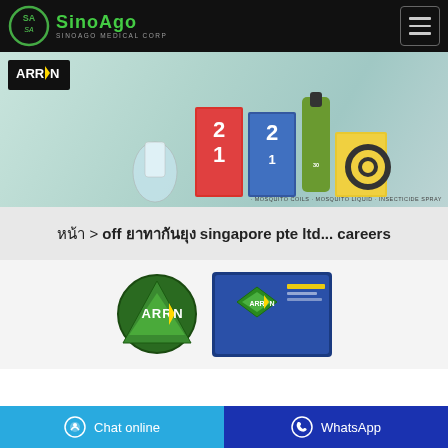[Figure (logo): SinoAgo Medical Corp logo with green circular emblem and green brand name text on black navigation bar]
[Figure (photo): Arrow brand mosquito repellent product banner showing mosquito coils, mosquito liquid, and insecticide spray products on light teal background with Arrow logo top left. Tagline: MOSQUITO COILS · MOSQUITO LIQUID · INSECTICIDE SPRAY]
หน้า > off ยาทากันยุง singapore pte ltd… careers
[Figure (logo): Arrow brand circular logo in green with lightning bolt]
[Figure (photo): Arrow brand blue product box with green diamond logo]
Chat online
WhatsApp